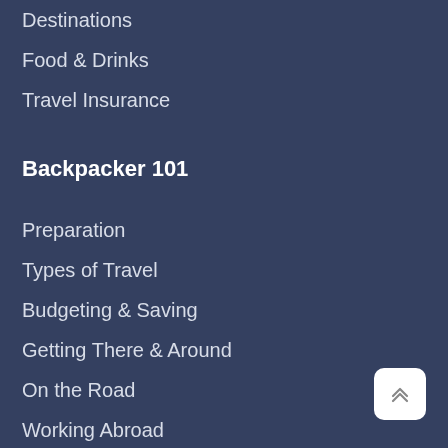Destinations
Food & Drinks
Travel Insurance
Backpacker 101
Preparation
Types of Travel
Budgeting & Saving
Getting There & Around
On the Road
Working Abroad
Staying Healthy
Photography & Videography
When Things Go Wrong